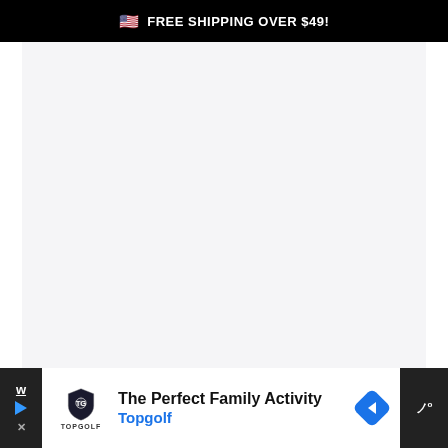🇺🇸 FREE SHIPPING OVER $49!
[Figure (other): White/light grey empty content area representing a product page or loading state]
[Figure (infographic): Bottom advertisement banner for Topgolf - The Perfect Family Activity, with Topgolf shield logo, blue navigation arrow, and surrounding dark navigation bar elements]